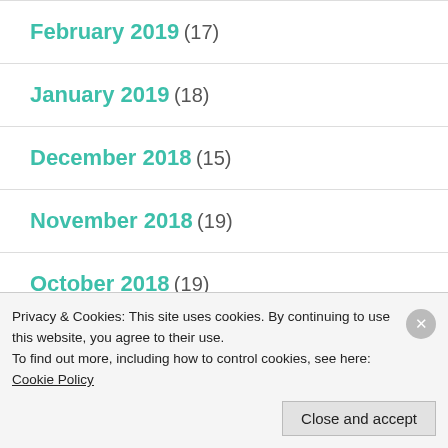February 2019 (17)
January 2019 (18)
December 2018 (15)
November 2018 (19)
October 2018 (19)
September 2018 (18)
Privacy & Cookies: This site uses cookies. By continuing to use this website, you agree to their use.
To find out more, including how to control cookies, see here: Cookie Policy
Close and accept